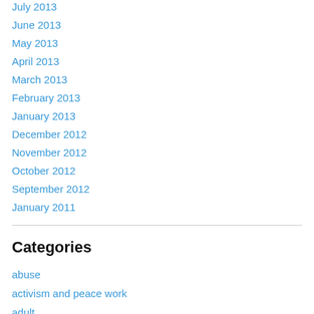July 2013
June 2013
May 2013
April 2013
March 2013
February 2013
January 2013
December 2012
November 2012
October 2012
September 2012
January 2011
Categories
abuse
activism and peace work
adult
agent orange
alcohol